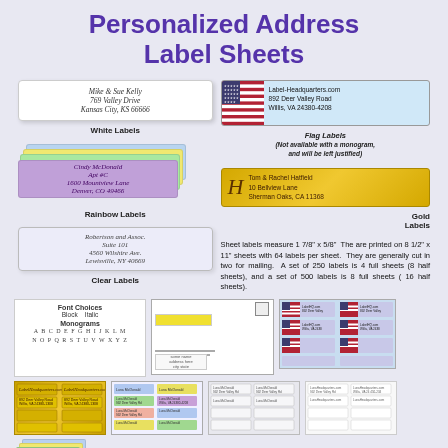Personalized Address Label Sheets
[Figure (illustration): Sample label types shown: White Labels with italic address text (Mike & Sue Kelly, 769 Valley Drive, Kansas City, KS 66666), Rainbow Labels stacked in multiple colors with address (Cindy McDonald, Apt #C, 1600 Mountview Lane, Denver, CO 49466), Clear Labels with italic address (Robertson and Assoc., Suite 101, 4560 Wilshire Ave., Lewisville, NY 40669), Flag Labels with American flag image and address (Label-Headquarters.com, 892 Deer Valley Road, Willis, VA 24380-4208), Gold Labels with monogram H and address (Tom & Rachel Hatfield, 10 Bellview Lane, Sherman Oaks, CA 11368)]
Sheet labels measure 1 7/8" x 5/8". The are printed on 8 1/2" x 11" sheets with 64 labels per sheet. They are generally cut in two for mailing. A set of 250 labels is 4 full sheets (8 half sheets), and a set of 500 labels is 8 full sheets (16 half sheets).
[Figure (illustration): Font Choices section showing Block and Italic styles, Monograms alphabet A through Z in decorative font. Thumbnail images of envelope/sheet layouts, flag label sheet, gold label sheet, rainbow label sheet, clear label sheet, white label sheet, and small rainbow stack at bottom.]